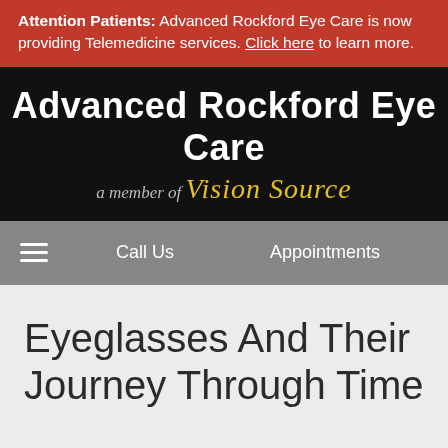Attention Patients: Advanced Rockford Eye Care is now providing Telemedicine services. Click here to learn more.
[Figure (logo): Advanced Rockford Eye Care logo on black background with 'a member of Vision Source' tagline]
Call Us   Appointments
Eyeglasses And Their Journey Through Time